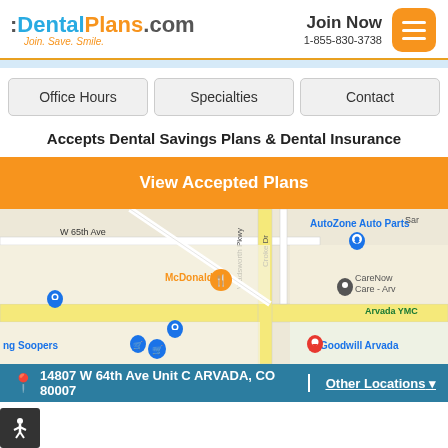[Figure (logo): DentalPlans.com logo with tagline 'Join. Save. Smile.']
Join Now
1-855-830-3738
Office Hours
Specialties
Contact
Accepts Dental Savings Plans & Dental Insurance
View Accepted Plans
[Figure (map): Google Maps view showing area around 14807 W 64th Ave, Arvada, CO 80007. Landmarks visible: AutoZone Auto Parts, McDonald's, CareNow Urgent Care - Arvada, Arvada YMCA, Goodwill Arvada, King Soopers. Streets visible: W 65th Ave, W 63rd Pl, Croke Dr, Wadsworth Pkwy, route 72.]
14807 W 64th Ave Unit C ARVADA, CO 80007 | Other Locations ▾